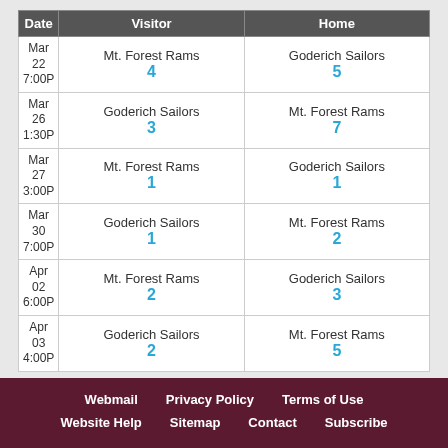| Date | Visitor | Home |
| --- | --- | --- |
| Mar 22
7:00P | Mt. Forest Rams
4 | Goderich Sailors
5 |
| Mar 26
1:30P | Goderich Sailors
3 | Mt. Forest Rams
7 |
| Mar 27
3:00P | Mt. Forest Rams
1 | Goderich Sailors
1 |
| Mar 30
7:00P | Goderich Sailors
1 | Mt. Forest Rams
2 |
| Apr 02
6:00P | Mt. Forest Rams
2 | Goderich Sailors
3 |
| Apr 03
4:00P | Goderich Sailors
2 | Mt. Forest Rams
5 |
Game Data Last Updated: Sep 05, 1:12 AM, Next Update: Sep 15, 1:12 AM
Webmail  Privacy Policy  Terms of Use  Website Help  Sitemap  Contact  Subscribe